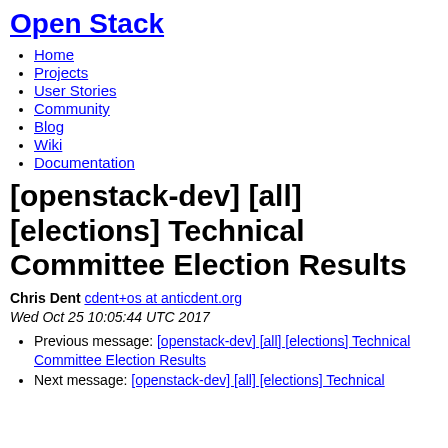Open Stack
Home
Projects
User Stories
Community
Blog
Wiki
Documentation
[openstack-dev] [all] [elections] Technical Committee Election Results
Chris Dent cdent+os at anticdent.org
Wed Oct 25 10:05:44 UTC 2017
Previous message: [openstack-dev] [all] [elections] Technical Committee Election Results
Next message: [openstack-dev] [all] [elections] Technical